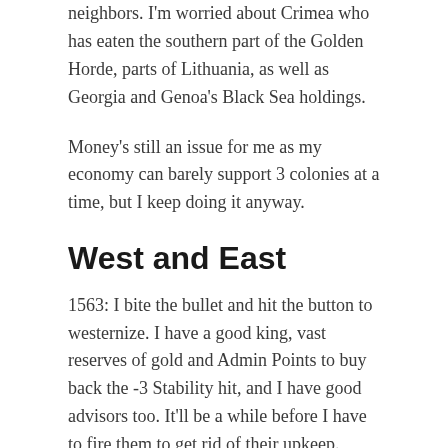neighbors. I'm worried about Crimea who has eaten the southern part of the Golden Horde, parts of Lithuania, as well as Georgia and Genoa's Black Sea holdings.
Money's still an issue for me as my economy can barely support 3 colonies at a time, but I keep doing it anyway.
West and East
1563: I bite the bullet and hit the button to westernize. I have a good king, vast reserves of gold and Admin Points to buy back the -3 Stability hit, and I have good advisors too. It'll be a while before I have to fire them to get rid of their upkeep. There's a few revolts in the beginning, but everything is going well. The process says it'll be done in 1570. 7 years? I can wait. Just have to not go to war and just keep everything stable.